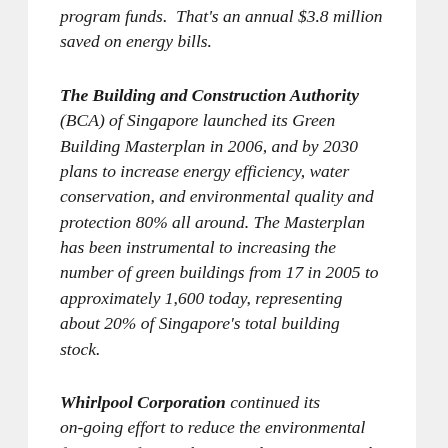program funds.  That's an annual $3.8 million saved on energy bills.
The Building and Construction Authority (BCA) of Singapore launched its Green Building Masterplan in 2006, and by 2030 plans to increase energy efficiency, water conservation, and environmental quality and protection 80% all around. The Masterplan has been instrumental to increasing the number of green buildings from 17 in 2005 to approximately 1,600 today, representing about 20% of Singapore's total building stock.
Whirlpool Corporation continued its ongoing effort to reduce the environmental footprint of major home appliances in March when it launched the first ever